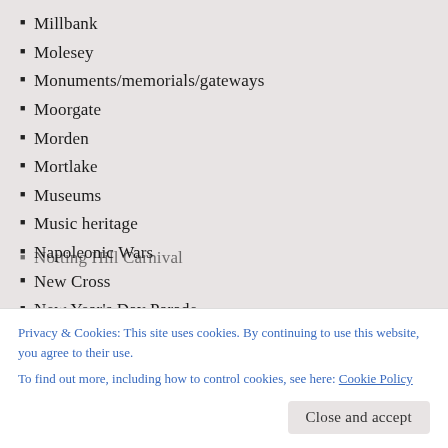Millbank
Molesey
Monuments/memorials/gateways
Moorgate
Morden
Mortlake
Museums
Music heritage
Napoleonic Wars
New Cross
New Year's Day Parade
New Year's Eve
Newington Green
News
Notting Hill Carnival
Privacy & Cookies: This site uses cookies. By continuing to use this website, you agree to their use.
To find out more, including how to control cookies, see here: Cookie Policy